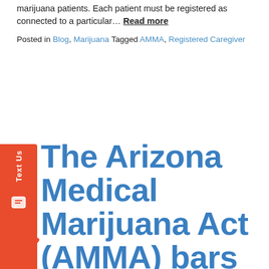marijuana patients. Each patient must be registered as connected to a particular… Read more
Posted in Blog, Marijuana Tagged AMMA, Registered Caregiver
The Arizona Medical Marijuana Act (AMMA) bars forgery prosecution of a physician for falsely certifying they have reviewed the patient's